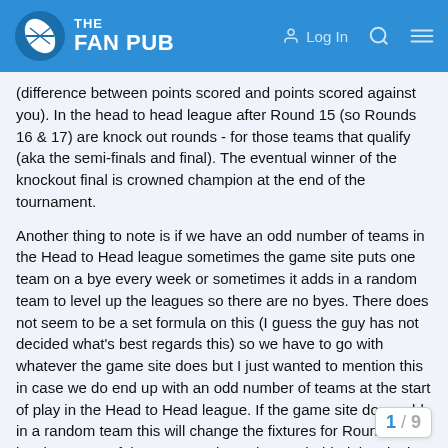THE FAN PUB — Log In
(difference between points scored and points scored against you). In the head to head league after Round 15 (so Rounds 16 & 17) are knock out rounds - for those teams that qualify (aka the semi-finals and final). The eventual winner of the knockout final is crowned champion at the end of the tournament.
Another thing to note is if we have an odd number of teams in the Head to Head league sometimes the game site puts one team on a bye every week or sometimes it adds in a random team to level up the leagues so there are no byes. There does not seem to be a set formula on this (I guess the guy has not decided what's best regards this) so we have to go with whatever the game site does but I just wanted to mention this in case we do end up with an odd number of teams at the start of play in the Head to Head league. If the game site does add in a random team this will change the fixtures for Round 1 so just be aware of that as sometimes the guy behind the site is slow to do this. I personally think an extra unpaid for t bye weeks but thats my personal preferen
1 / 9